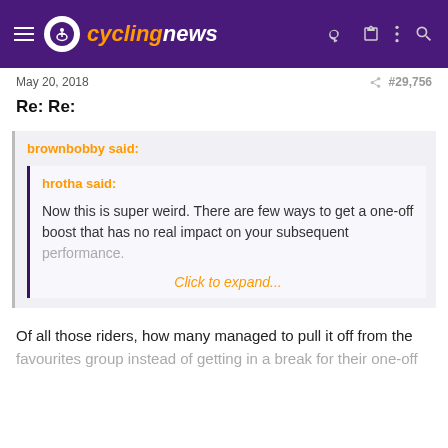cyclingnews
May 20, 2018  #29,756
Re: Re:
brownbobby said:
hrotha said:
Now this is super weird. There are few ways to get a one-off boost that has no real impact on your subsequent performance.
Click to expand...
Of all those riders, how many managed to pull it off from the favourites group instead of getting in a break for their one-off